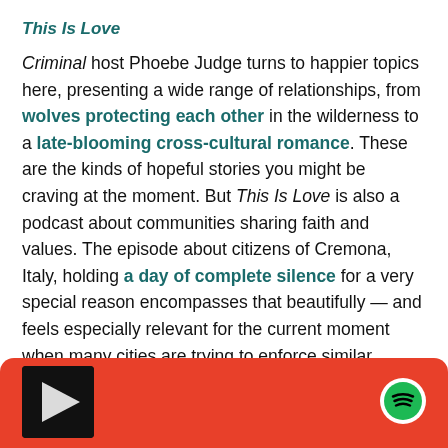This Is Love
Criminal host Phoebe Judge turns to happier topics here, presenting a wide range of relationships, from wolves protecting each other in the wilderness to a late-blooming cross-cultural romance. These are the kinds of hopeful stories you might be craving at the moment. But This Is Love is also a podcast about communities sharing faith and values. The episode about citizens of Cremona, Italy, holding a day of complete silence for a very special reason encompasses that beautifully — and feels especially relevant for the current moment when many cities are trying to enforce similar collective social contracts.
[Figure (screenshot): Spotify podcast player bar with red background, podcast thumbnail on the left, and Spotify logo on the right]